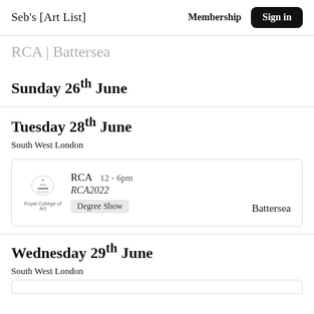Seb's [Art List]  Membership  Sign in
RCA | Battersea
Sunday 26th June
Tuesday 28th June
South West London
| Logo | Name/Time | Subtitle | Tag | Location |
| --- | --- | --- | --- | --- |
| Royal College of Art | RCA   12 - 6pm | RCA2022 | Degree Show | Battersea |
Wednesday 29th June
South West London